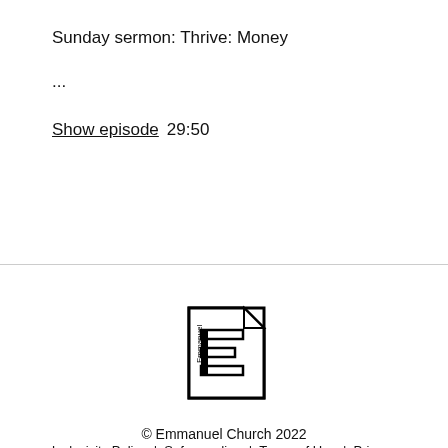Sunday sermon: Thrive: Money
...
Show episode   29:50
[Figure (logo): Emmanuel Church logo — a stylized letter E made of rectangular shapes forming a document/page icon with the word Emmanuel written vertically on the left side]
© Emmanuel Church 2022
Inclusivity Policy  |  Safeguarding  |  Terms of Use  |  Privacy